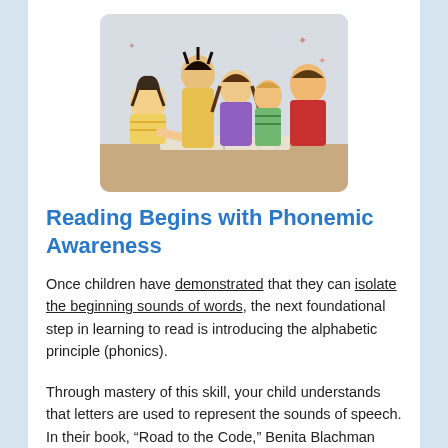[Figure (photo): Five children lying on a surface reading a book together — one in yellow striped shirt, one in yellow top, one in purple top with braids, one small child in green striped shirt, one in red shirt.]
Reading Begins with Phonemic Awareness
Once children have demonstrated that they can isolate the beginning sounds of words, the next foundational step in learning to read is introducing the alphabetic principle (phonics).
Through mastery of this skill, your child understands that letters are used to represent the sounds of speech. In their book, “Road to the Code,” Benita Blachman Ph.D. and Eileen Ball Ph.D. tell us